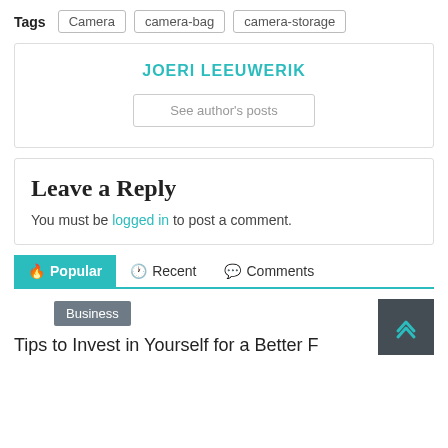Tags  Camera  camera-bag  camera-storage
JOERI LEEUWERIK
See author's posts
Leave a Reply
You must be logged in to post a comment.
Popular  Recent  Comments
Business
Tips to Invest in Yourself for a Better F...